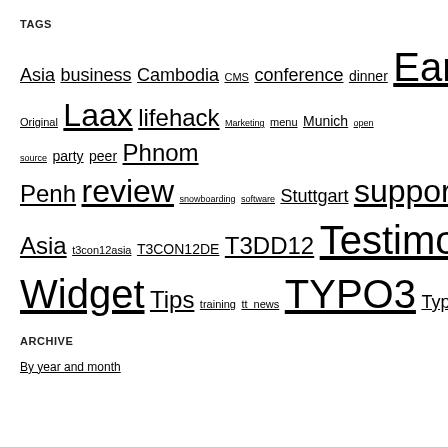TAGS
Asia business Cambodia CMS conference dinner Earth Europe flow3 Germany Hanau HMENU in2code interview iPhoto Original Laax lifehack Marketing menu Munich open source party peer Phnom Penh review snowboarding software Stuttgart support Switzerland T3BOARD12 T3CON11 T3CON12 Asia t3con12asia T3CON12DE T3DD12 Testimonials Widget Tips training tt_news TYPO3 TypoScript video website Websites
ARCHIVE
By year and month